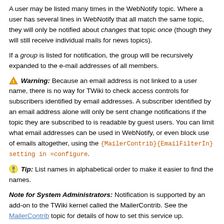A user may be listed many times in the WebNotify topic. Where a user has several lines in WebNotify that all match the same topic, they will only be notified about changes that topic once (though they will still receive individual mails for news topics).
If a group is listed for notification, the group will be recursively expanded to the e-mail addresses of all members.
⚠ Warning: Because an email address is not linked to a user name, there is no way for TWiki to check access controls for subscribers identified by email addresses. A subscriber identified by an email address alone will only be sent change notifications if the topic they are subscribed to is readable by guest users. You can limit what email addresses can be used in WebNotify, or even block use of emails altogether, using the {MailerContrib}{EmailFilterIn} setting in =configure.
💡 Tip: List names in alphabetical order to make it easier to find the names.
Note for System Administrators: Notification is supported by an add-on to the TWiki kernel called the MailerContrib. See the MailerContrib topic for details of how to set this service up.